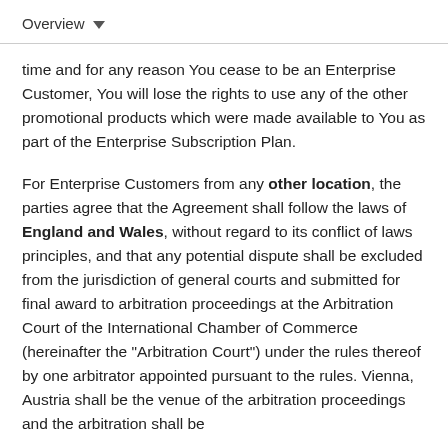Overview
time and for any reason You cease to be an Enterprise Customer, You will lose the rights to use any of the other promotional products which were made available to You as part of the Enterprise Subscription Plan.
For Enterprise Customers from any other location, the parties agree that the Agreement shall follow the laws of England and Wales, without regard to its conflict of laws principles, and that any potential dispute shall be excluded from the jurisdiction of general courts and submitted for final award to arbitration proceedings at the Arbitration Court of the International Chamber of Commerce (hereinafter the "Arbitration Court") under the rules thereof by one arbitrator appointed pursuant to the rules. Vienna, Austria shall be the venue of the arbitration proceedings and the arbitration shall be